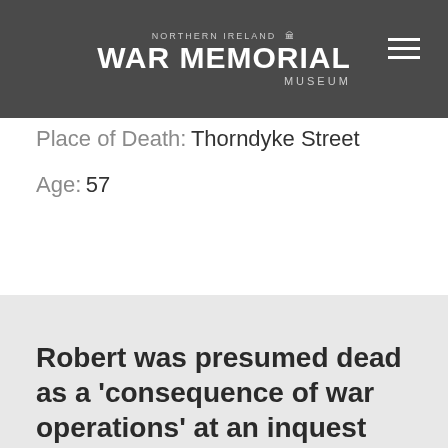[Figure (logo): Northern Ireland War Memorial Museum logo with white text and red poppy graphic on dark gray background]
Place of Death: Thorndyke Street
Age: 57
Robert was presumed dead as a 'consequence of war operations' at an inquest held at Belfast City Hall on 26 June 1941. He lost his life...